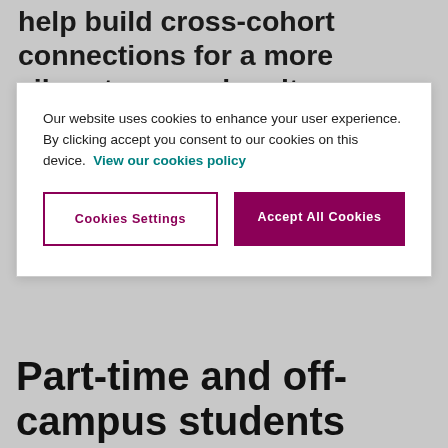help build cross-cohort connections for a more vibrant research culture.
Our website uses cookies to enhance your user experience. By clicking accept you consent to our cookies on this device. View our cookies policy
can be given for previous research training that can be used to satisfy the requirements in order to allow submission of the thesis, but these would not count towards either the Certificate or Diploma.
Part-time and off-campus students